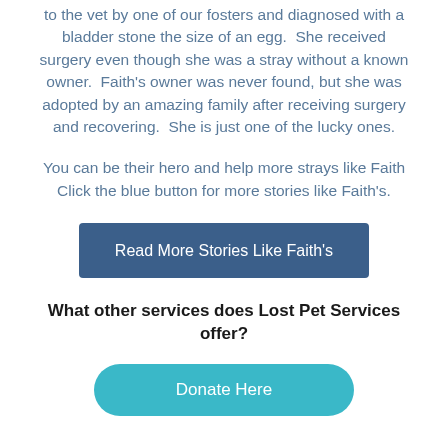to the vet by one of our fosters and diagnosed with a bladder stone the size of an egg. She received surgery even though she was a stray without a known owner. Faith's owner was never found, but she was adopted by an amazing family after receiving surgery and recovering. She is just one of the lucky ones.
You can be their hero and help more strays like Faith Click the blue button for more stories like Faith's.
Read More Stories Like Faith's
What other services does Lost Pet Services offer?
Donate Here